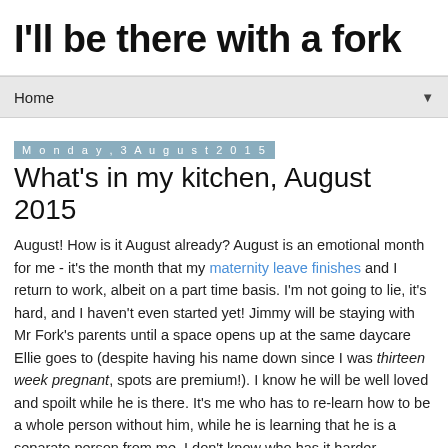I'll be there with a fork
Home
Monday, 3 August 2015
What's in my kitchen, August 2015
August! How is it August already? August is an emotional month for me - it's the month that my maternity leave finishes and I return to work, albeit on a part time basis. I'm not going to lie, it's hard, and I haven't even started yet! Jimmy will be staying with Mr Fork's parents until a space opens up at the same daycare Ellie goes to (despite having his name down since I was thirteen week pregnant, spots are premium!). I know he will be well loved and spoilt while he is there. It's me who has to re-learn how to be a whole person without him, while he is learning that he is a separate person from me. I don't know who has it harder. Anyway, when I am emotional, I like to eat, so there's a fair bit of that happening in my